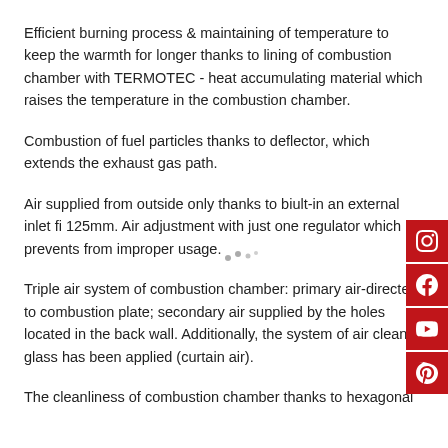Efficient burning process & maintaining of temperature to keep the warmth for longer thanks to lining of combustion chamber with TERMOTEC - heat accumulating material which raises the temperature in the combustion chamber.
Combustion of fuel particles thanks to deflector, which extends the exhaust gas path.
Air supplied from outside only thanks to biult-in an external inlet fi 125mm. Air adjustment with just one regulator which prevents from improper usage.
Triple air system of combustion chamber: primary air-directed to combustion plate; secondary air supplied by the holes located in the back wall. Additionally, the system of air clean glass has been applied (curtain air).
The cleanliness of combustion chamber thanks to hexagonal